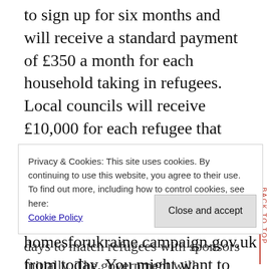to sign up for six months and will receive a standard payment of £350 a month for each household taking in refugees. Local councils will receive £10,000 for each refugee that comes to their area along with additional payments to support school-age children. You can register your interest at homesforukraine.campaign.gov.uk from today. You might want to wait until the load on the website has reduced. Online application forms are expected to be available from Friday. Organisations can also express an interest at the same web address. The difficulty many people will face with this scheme is that
Privacy & Cookies: This site uses cookies. By continuing to use this website, you agree to their use.
To find out more, including how to control cookies, see here:
Cookie Policy
Close and accept
days to match refugees with sponsors initially. The government will prioritise forms with organisations